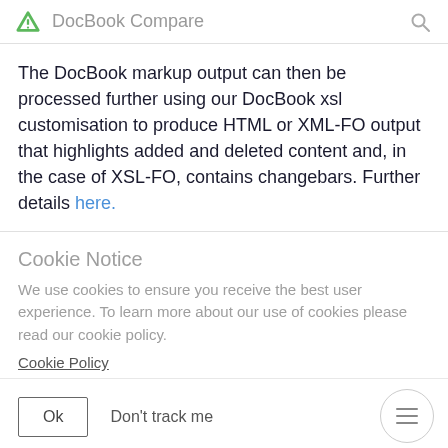DocBook Compare
The DocBook markup output can then be processed further using our DocBook xsl customisation to produce HTML or XML-FO output that highlights added and deleted content and, in the case of XSL-FO, contains changebars. Further details here.
Cookie Notice
We use cookies to ensure you receive the best user experience. To learn more about our use of cookies please read our cookie policy.
Cookie Policy
Ok   Don't track me